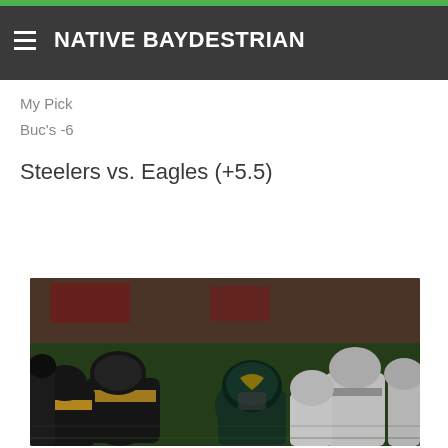NATIVE BAYDESTRIAN
on, butreamandnis season plus, the Bues aced. ould say these are both good, evenly-matched teams and this game could go either way, so I'm going with ...
My Pick
Buc's -6
Steelers vs. Eagles (+5.5)
[Figure (photo): Football game action photo showing Philadelphia Eagles and Pittsburgh Steelers players lined up against each other at the line of scrimmage. Eagles player in teal/dark helmet at center, Steelers players in black and gold uniforms on the left side.]